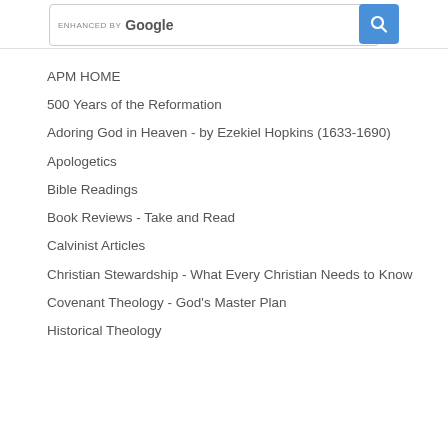[Figure (screenshot): Search bar with 'ENHANCED BY Google' text and a blue search button with magnifying glass icon]
APM HOME
500 Years of the Reformation
Adoring God in Heaven - by Ezekiel Hopkins (1633-1690)
Apologetics
Bible Readings
Book Reviews - Take and Read
Calvinist Articles
Christian Stewardship - What Every Christian Needs to Know
Covenant Theology - God's Master Plan
Historical Theology